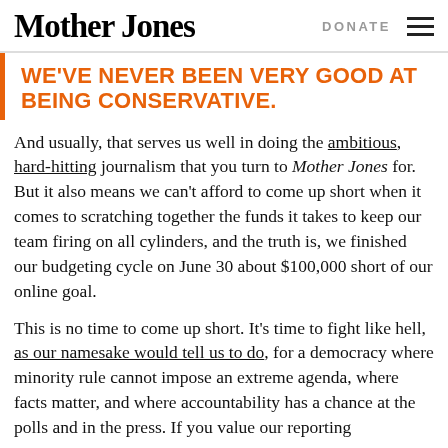Mother Jones   DONATE
WE'VE NEVER BEEN VERY GOOD AT BEING CONSERVATIVE.
And usually, that serves us well in doing the ambitious, hard-hitting journalism that you turn to Mother Jones for. But it also means we can't afford to come up short when it comes to scratching together the funds it takes to keep our team firing on all cylinders, and the truth is, we finished our budgeting cycle on June 30 about $100,000 short of our online goal.
This is no time to come up short. It's time to fight like hell, as our namesake would tell us to do, for a democracy where minority rule cannot impose an extreme agenda, where facts matter, and where accountability has a chance at the polls and in the press. If you value our reporting